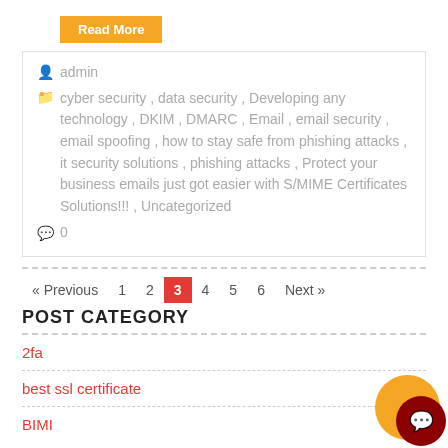Read More
admin
cyber security , data security , Developing any technology , DKIM , DMARC , Email , email security , email spoofing , how to stay safe from phishing attacks , it security solutions , phishing attacks , Protect your business emails just got easier with S/MIME Certificates Solutions!!! , Uncategorized
0
« Previous  1  2  3  4  5  6  Next »
POST CATEGORY
2fa
best ssl certificate
BIMI